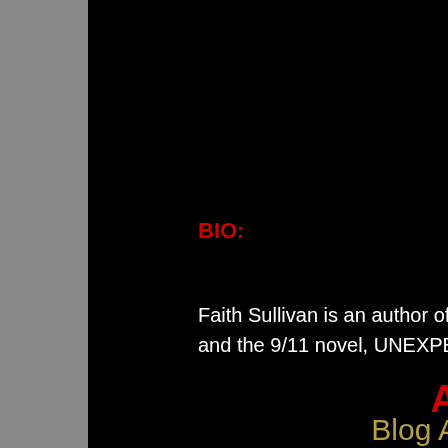BIO:
Faith Sullivan is an author of New Adult contempora and the 9/11 novel, UNEXPECTED.
A
Blog A